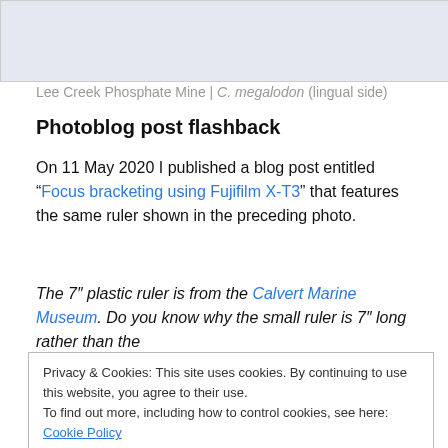[Figure (photo): Partial view of a fossil tooth photo from Lee Creek Phosphate Mine, lingual side]
Lee Creek Phosphate Mine | C. megalodon (lingual side)
Photoblog post flashback
On 11 May 2020 I published a blog post entitled “Focus bracketing using Fujifilm X-T3” that features the same ruler shown in the preceding photo.
The 7″ plastic ruler is from the Calvert Marine Museum. Do you know why the small ruler is 7″ long rather than the
Privacy & Cookies: This site uses cookies. By continuing to use this website, you agree to their use.
To find out more, including how to control cookies, see here: Cookie Policy
Close and accept
length of the largest fossil shark teeth ever collected — the